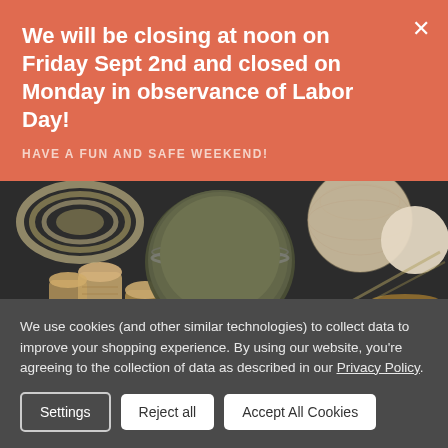We will be closing at noon on Friday Sept 2nd and closed on Monday in observance of Labor Day!
HAVE A FUN AND SAFE WEEKEND!
[Figure (photo): Overhead photo of craft/artisan items on dark background: wine corks, twine rolls, a round open tin of dark olive/green paint or polish, dried botanical materials, wicker/rattan spheres, and beige foam-like balls.]
We use cookies (and other similar technologies) to collect data to improve your shopping experience. By using our website, you're agreeing to the collection of data as described in our Privacy Policy.